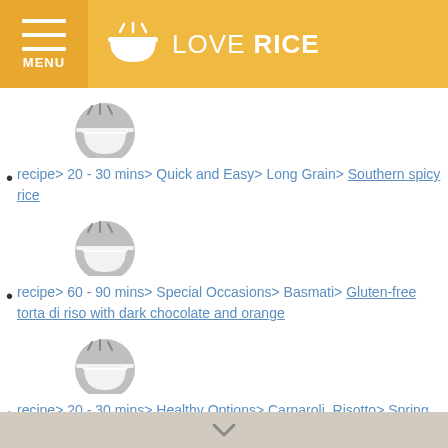[Figure (logo): Love Rice app header with menu icon, bowl icon, and LOVE RICE text on golden/yellow background]
recipe> 20 - 30 mins> Quick and Easy> Long Grain> Southern spicy rice
recipe> 60 - 90 mins> Special Occasions> Basmati> Gluten-free torta di riso with dark chocolate and orange
recipe> 20 - 30 mins> Healthy Options> Carnaroli, Risotto> Spring risotto